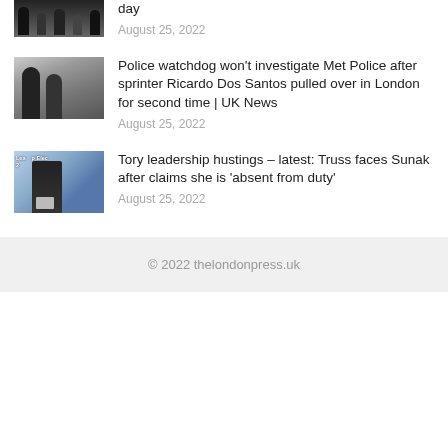[Figure (photo): Crowd of people, partially visible at top of page]
day
August 25, 2022
[Figure (photo): Two young men in dark clothing outdoors]
Police watchdog won't investigate Met Police after sprinter Ricardo Dos Santos pulled over in London for second time | UK News
August 25, 2022
[Figure (photo): Rishi Sunak speaking at a Tory leadership election event]
Tory leadership hustings – latest: Truss faces Sunak after claims she is 'absent from duty'
August 25, 2022
© 2022 thelondonpress.uk